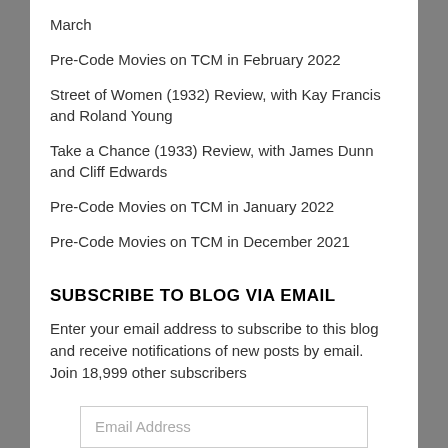March
Pre-Code Movies on TCM in February 2022
Street of Women (1932) Review, with Kay Francis and Roland Young
Take a Chance (1933) Review, with James Dunn and Cliff Edwards
Pre-Code Movies on TCM in January 2022
Pre-Code Movies on TCM in December 2021
SUBSCRIBE TO BLOG VIA EMAIL
Enter your email address to subscribe to this blog and receive notifications of new posts by email.
Join 18,999 other subscribers